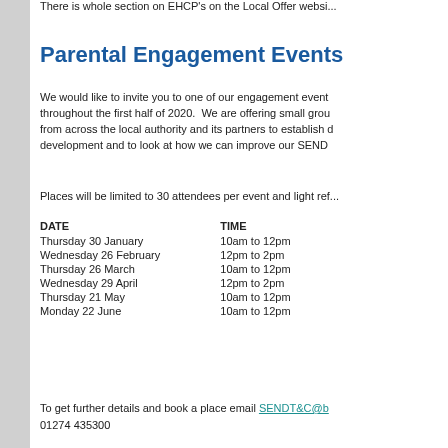There is whole section on EHCP's on the Local Offer websi...
Parental Engagement Events
We would like to invite you to one of our engagement events throughout the first half of 2020. We are offering small group sessions from across the local authority and its partners to establish development and to look at how we can improve our SEND...
Places will be limited to 30 attendees per event and light ref...
| DATE | TIME |
| --- | --- |
| Thursday 30 January | 10am to 12pm |
| Wednesday 26 February | 12pm to 2pm |
| Thursday 26 March | 10am to 12pm |
| Wednesday 29 April | 12pm to 2pm |
| Thursday 21 May | 10am to 12pm |
| Monday 22 June | 10am to 12pm |
To get further details and book a place email SENDT&C@b... 01274 435300